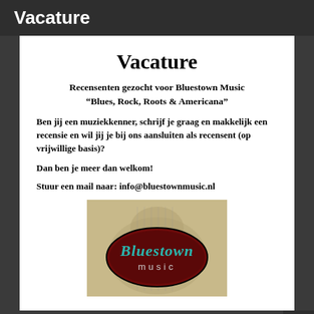Vacature
Vacature
Recensenten gezocht voor Bluestown Music
“Blues, Rock, Roots & Americana”
Ben jij een muziekkenner, schrijf je graag en makkelijk een recensie en wil jij je bij ons aansluiten als recensent (op vrijwillige basis)?
Dan ben je meer dan welkom!
Stuur een mail naar: info@bluestownmusic.nl
[Figure (logo): Bluestown Music logo: oval dark red/black badge with teal cursive 'Bluestown' text and 'music' below, overlaid on a vintage guitar background image]